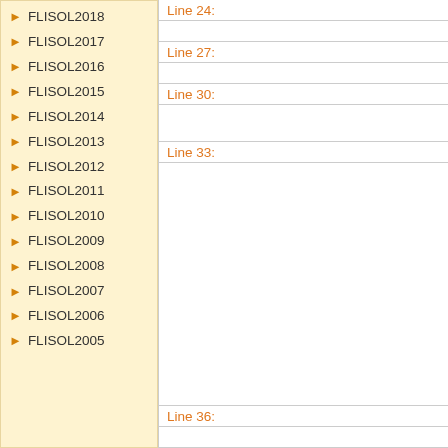FLISOL2018
FLISOL2017
FLISOL2016
FLISOL2015
FLISOL2014
FLISOL2013
FLISOL2012
FLISOL2011
FLISOL2010
FLISOL2009
FLISOL2008
FLISOL2007
FLISOL2006
FLISOL2005
Line 24:
Line 27:
Line 30:
Line 33:
Line 36: